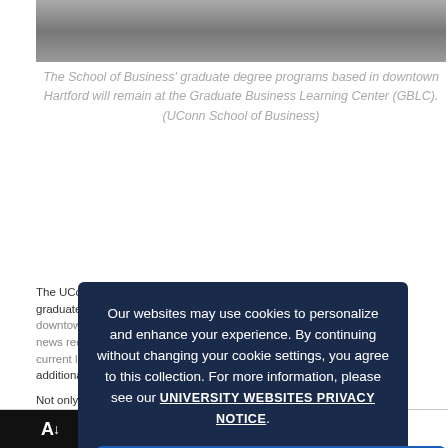[Figure (photo): Photograph of a building exterior, appears to be a downtown Hartford location.]
The School of Business' graduate degree programs based in downtown Hartford will remain at the Graduate Business Learning Center (GBLC). (UConn School of Business)
The UConn School of Business' graduate degree programs based in downtown Hartford received some good news recently: they will remain in their current location and expand to additional space.
Not only did the school renew the lease for the Graduate Business Learning Center at 100 Constitution Plaza, but also received the additional floors to the existing space, allocating a total of six floors of classroom, meeting and office space. Continue Reading
Our websites may use cookies to personalize and enhance your experience. By continuing without changing your cookie settings, you agree to this collection. For more information, please see our UNIVERSITY WEBSITES PRIVACY NOTICE.
OK ✓
Loading [MathJax]/extensions/MathMenu.js